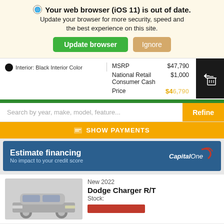Your web browser (iOS 11) is out of date. Update your browser for more security, speed and the best experience on this site.
Interior: Black Interior Color
|  | Price |
| --- | --- |
| MSRP | $47,790 |
| National Retail Consumer Cash | $1,000 |
| Price | $46,790 |
Search by year, make, model, feature...
SHOW PAYMENTS
Estimate financing
No impact to your credit score
New 2022
Dodge Charger R/T
Stock: